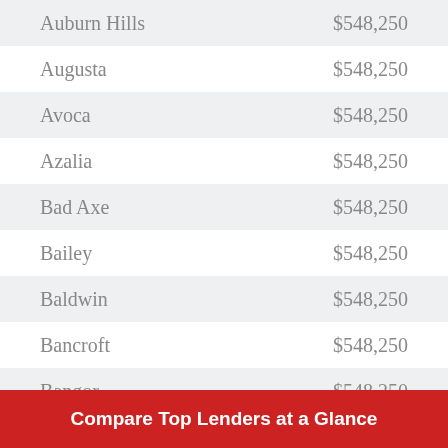| City | Amount |
| --- | --- |
| Auburn Hills | $548,250 |
| Augusta | $548,250 |
| Avoca | $548,250 |
| Azalia | $548,250 |
| Bad Axe | $548,250 |
| Bailey | $548,250 |
| Baldwin | $548,250 |
| Bancroft | $548,250 |
| Bangor | $548,250 |
| Bannister | $548,250 |
Compare Top Lenders at a Glance